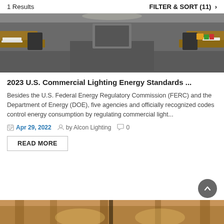1 Results   FILTER & SORT (11) >
[Figure (photo): Office interior with rows of desks, chairs, papers, and equipment in a commercial workspace setting.]
2023 U.S. Commercial Lighting Energy Standards ...
Besides the U.S. Federal Energy Regulatory Commission (FERC) and the Department of Energy (DOE), five agencies and officially recognized codes control energy consumption by regulating commercial light...
Apr 29, 2022   by Alcon Lighting   0
READ MORE
[Figure (photo): Partial view of building interior with warm lighting, wood ceiling beams visible at the bottom of the page.]